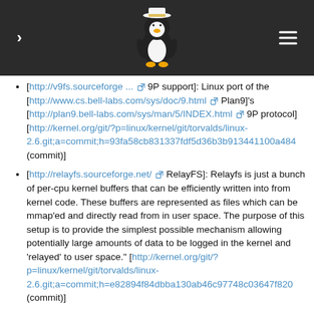[Figure (illustration): Dark navigation header bar with a right-pointing arrow chevron on the left, a Linux Tux penguin mascot illustration in the center, and a hamburger menu icon on the right]
[http://v9fs.sourceforge ... 9P support]: Linux port of the [http://www.cs.bell-labs.com/sys/doc/9.html Plan9]'s [http://plan9.bell-labs.com/sys/man/5/INDEX.html 9P protocol] [http://kernel.org/git/?p=linux/kernel/git/torvalds/linux-2.6.git;a=commit;h=93fa58cb831337fdf5d36b3b913441100a484 (commit)]
[http://relayfs.sourceforge.net/ RelayFS]: Relayfs is just a bunch of per-cpu kernel buffers that can be efficiently written into from kernel code. These buffers are represented as files which can be mmap'ed and directly read from in user space. The purpose of this setup is to provide the simplest possible mechanism allowing potentially large amounts of data to be logged in the kernel and 'relayed' to user space." [http://kernel.org/git/?p=linux/kernel/git/torvalds/linux-2.6.git;a=commit;h=e82894f84dbba130ab46c97748c03647f820 (commit)]
securityfs filesystem [http://lwn.net/Articles/153366/ (LWN article)] [http://kernel.org/git/?p=linux/kernel/git/torvalds/linux-2.6.git;a=commit;h=b67dbf9d4c1987c370fd18fdc4cf9d8aaea60 (commit)]